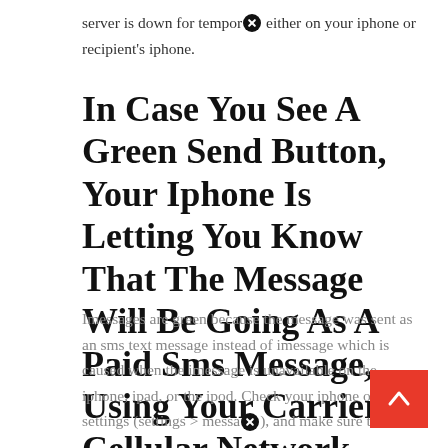server is down for tempor. either on your iphone or recipient's iphone.
In Case You See A Green Send Button, Your Iphone Is Letting You Know That The Message Will Be Going As A Paid Sms Message, Using Your Carrier's Cellular Network.
Imessages are green because the message was sent as an sms text message instead of imessage which is caused when the imessage is unavailable on the iphone, ipad, or the ipod. Check your iphone or ipad settings (settings > messa), and make sure the